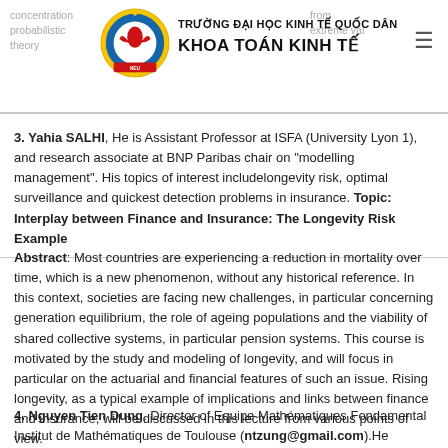TRƯỜNG ĐẠI HỌC KINH TẾ QUỐC DÂN / KHOA TOÁN KINH TẾ
3. Yahia SALHI, He is Assistant Professor at ISFA (University Lyon 1), and research associate at BNP Paribas chair on "modelling management". His topics of interest includelongevity risk, optimal surveillance and quickest detection problems in insurance. Topic: Interplay between Finance and Insurance: The Longevity Risk Example
Abstract: Most countries are experiencing a reduction in mortality over time, which is a new phenomenon, without any historical reference. In this context, societies are facing new challenges, in particular concerning generation equilibrium, the role of ageing populations and the viability of shared collective systems, in particular pension systems. This course is motivated by the study and modeling of longevity, and will focus in particular on the actuarial and financial features of such an issue. Rising longevity, as a typical example of implications and links between finance and insurance, will be discussed in this lecture from various points of view.
4. Nguyen Tien Dung, Director of Equipe Mathématiques Fondamental Institut de Mathématiques de Toulouse (ntzung@gmail.com).He completedhis doctorate at SISSA (Trieste). His current topic of interests